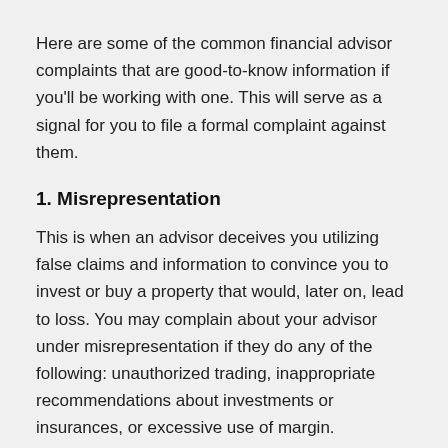Here are some of the common financial advisor complaints that are good-to-know information if you'll be working with one. This will serve as a signal for you to file a formal complaint against them.
1. Misrepresentation
This is when an advisor deceives you utilizing false claims and information to convince you to invest or buy a property that would, later on, lead to loss. You may complain about your advisor under misrepresentation if they do any of the following: unauthorized trading, inappropriate recommendations about investments or insurances, or excessive use of margin.
2. Unsuitability